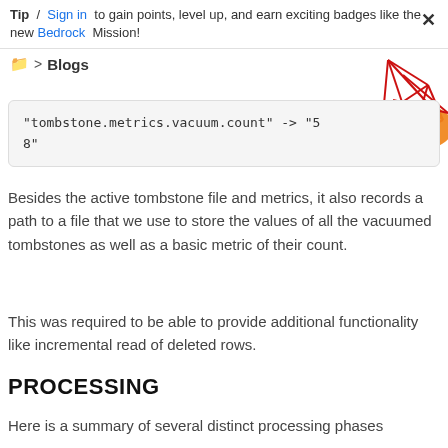Tip / Sign in to gain points, level up, and earn exciting badges like the new Bedrock Mission!
> Blogs
[Figure (logo): Red geometric diamond/polygon logo with orange semicircle, partially visible in top right corner]
"tombstone.metrics.vacuum.count" -> "5
8"
Besides the active tombstone file and metrics, it also records a path to a file that we use to store the values of all the vacuumed tombstones as well as a basic metric of their count.
This was required to be able to provide additional functionality like incremental read of deleted rows.
PROCESSING
Here is a summary of several distinct processing phases